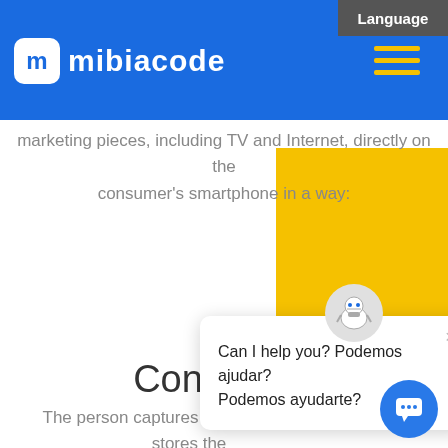Language
[Figure (logo): Midiacode logo: white box with letter m and text midiacode on blue navigation header with hamburger menu in yellow]
marketing pieces, including TV and Internet, directly on the consumer's smartphone in a way:
[Figure (screenshot): Chat popup with robot mascot icon showing text: Can I help you? Podemos ajudar? Podemos ayudarte?]
Contextual
The person captures the QR Code and stores the content that interests them on their smartphone.